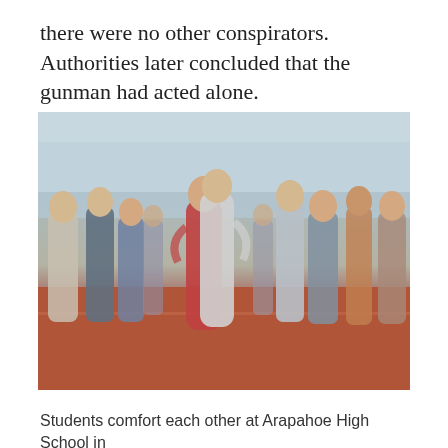there were no other conspirators. Authorities later concluded that the gunman had acted alone.
[Figure (photo): Students comfort each other on a running track at Arapahoe High School. Two students are hugging in the center, surrounded by many other students standing in groups.]
Students comfort each other at Arapahoe High School in